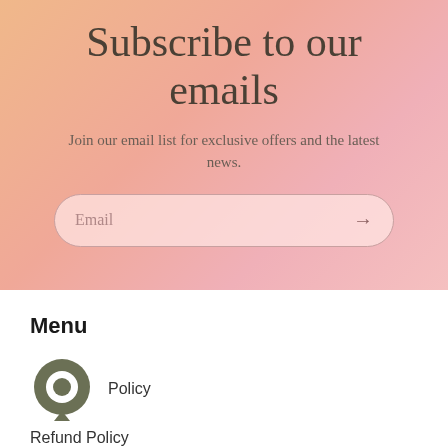Subscribe to our emails
Join our email list for exclusive offers and the latest news.
Email
Menu
[Figure (illustration): Dark olive green circular chat bubble icon]
Policy
Refund Policy